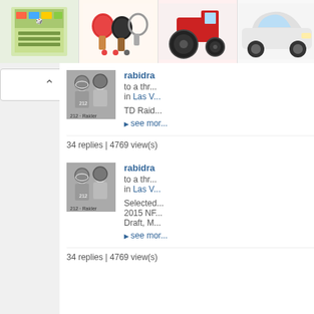[Figure (screenshot): Top thumbnail strip showing product images: a box/game product, ping pong paddles, a tractor toy, a car, and a logo]
[Figure (screenshot): First forum thread item: avatar of two football players in black and white, username 'rabidr...', text 'to a thr... in Las V...', body 'TD Raid...', see more link, '34 replies | 4769 view(s)']
[Figure (screenshot): Second forum thread item: same avatar, username 'rabidr...', text 'to a thr... in Las V...', body 'Selected... 2015 NF... Draft, M...', see more link, '34 replies | 4769 view(s)']